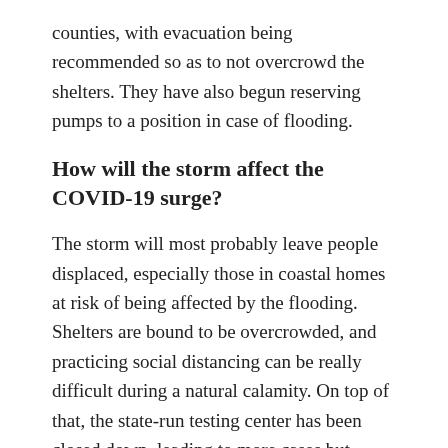counties, with evacuation being recommended so as to not overcrowd the shelters. They have also begun reserving pumps to a position in case of flooding.
How will the storm affect the COVID-19 surge?
The storm will most probably leave people displaced, especially those in coastal homes at risk of being affected by the flooding. Shelters are bound to be overcrowded, and practicing social distancing can be really difficult during a natural calamity. On top of that, the state-run testing center has been closed down, leading to more cases but lesser diagnoses.
However, the state of Florida has already started preparing for the calamity to prevent another surge. People living in coastal homes have been encouraged to